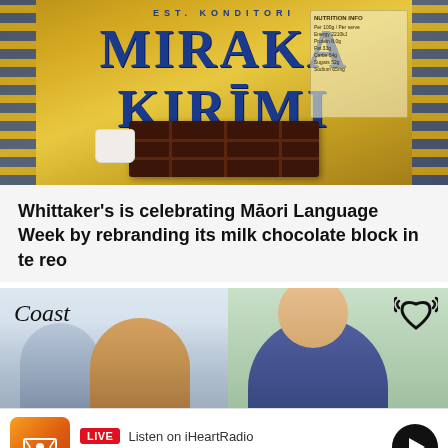[Figure (photo): Photo of Whittaker's chocolate block packaging with text 'MIRAKA KIRIMI' in blue letters on gold background, with chocolate pieces and a white cup/saucer visible]
Whittaker's is celebrating Māori Language Week by rebranding its milk chocolate block in te reo
[Figure (photo): Two-panel image: left shows two people smiling in front of a Coast radio station backdrop; right shows a man smiling with an iHeartRadio logo]
LIVE Listen on iHeartRadio
AIR SUPPLY - ALL OUT OF LOVE
Home   Podcasts   Shows   Win   Menu